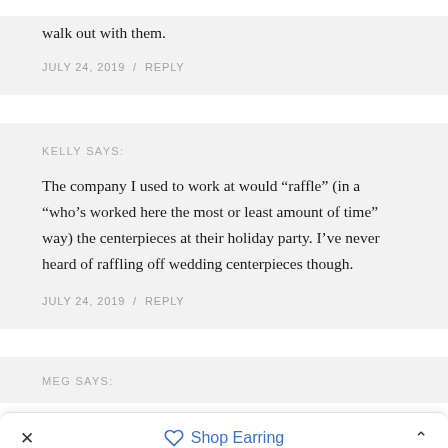walk out with them.
JULY 24, 2019  /  REPLY
KELLY SAYS:
The company I used to work at would “raffle” (in a “who’s worked here the most or least amount of time” way) the centerpieces at their holiday party. I’ve never heard of raffling off wedding centerpieces though.
JULY 24, 2019  /  REPLY
MEG SAYS:
Shop Earring